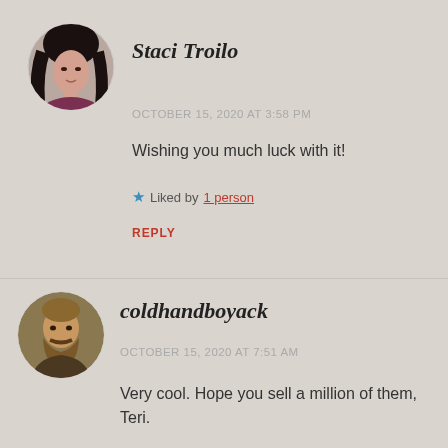[Figure (photo): Circular avatar photo of Staci Troilo, a woman with dark hair]
Staci Troilo
OCTOBER 15, 2020 AT 3:58 PM
Wishing you much luck with it!
★ Liked by 1 person
REPLY
[Figure (photo): Circular avatar photo of coldhandboyack, a bearded man]
coldhandboyack
OCTOBER 15, 2020 AT 7:51 AM
Very cool. Hope you sell a million of them, Teri.